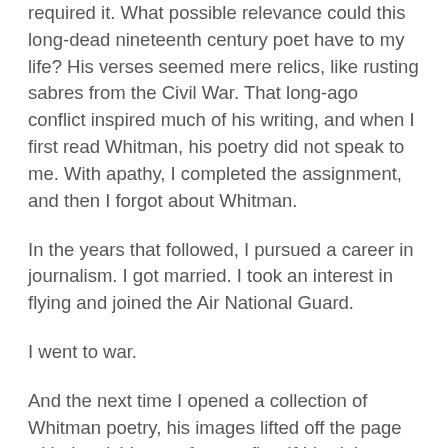required it. What possible relevance could this long-dead nineteenth century poet have to my life? His verses seemed mere relics, like rusting sabres from the Civil War. That long-ago conflict inspired much of his writing, and when I first read Whitman, his poetry did not speak to me. With apathy, I completed the assignment, and then I forgot about Whitman.
In the years that followed, I pursued a career in journalism. I got married. I took an interest in flying and joined the Air National Guard.
I went to war.
And the next time I opened a collection of Whitman poetry, his images lifted off the page with the vividness of tracer fire. If I hadn't known the poet was dead and gone, I might have taken him for a present-day embedded reporter. His poetry speaks of the torments of delayed stress, the sufferings of the wounded, the vigils for the